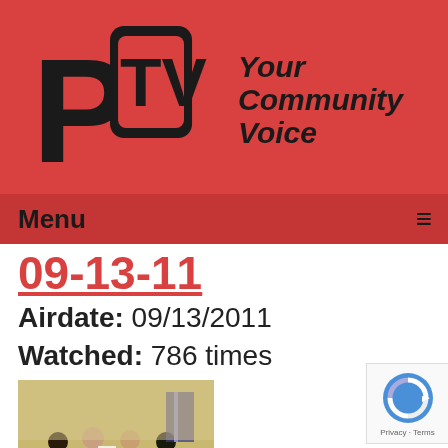[Figure (logo): PCTV logo with stylized letters P C T V in black on red background, with text 'Your Community Voice' in bold italic to the right]
Menu  ≡
09-13-11
Airdate: 09/13/2011
Watched: 786 times
[Figure (photo): Thumbnail photo of a board meeting with people seated at a conference table]
The Board of Education Meeting of